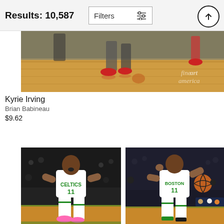Results: 10,587
Filters
[Figure (photo): Basketball court floor photo with player feet and red shoes visible, Fine Art America watermark in bottom right corner]
Kyrie Irving
Brian Babineau
$9.62
[Figure (photo): Kyrie Irving #11 in white Celtics jersey celebrating on court]
[Figure (photo): Kyrie Irving #11 in white Boston jersey holding basketball on court]